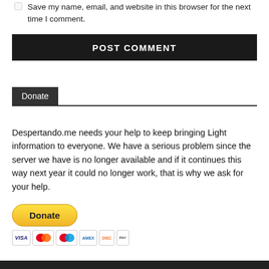Save my name, email, and website in this browser for the next time I comment.
[Figure (other): POST COMMENT button — black background with white bold uppercase text]
Donate
Despertando.me needs your help to keep bringing Light information to everyone. We have a serious problem since the server we have is no longer available and if it continues this way next year it could no longer work, that is why we ask for your help.
[Figure (other): PayPal Donate button (yellow/gold rounded pill) with payment card icons below (Visa, Mastercard, Maestro, AmEx, Discover, UnionPay)]